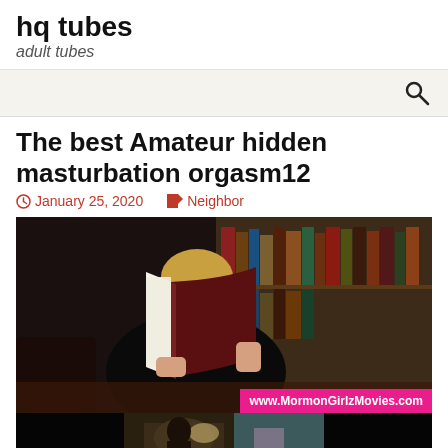hq tubes
adult tubes
The best Amateur hidden masturbation orgasm12
January 25, 2020   Neighbor
[Figure (photo): Woman reading a large book at a desk in a library setting, with watermark www.MormonGirlzMovies.com, and a thumbnail strip below showing another scene.]